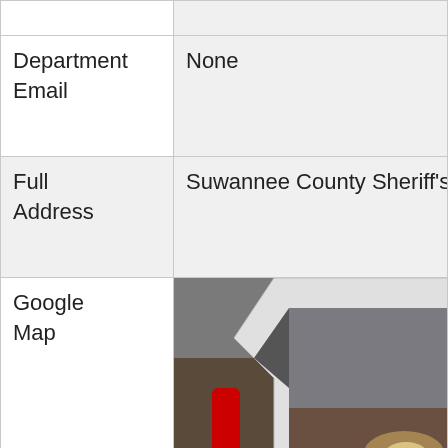| Field | Value |
| --- | --- |
|  |  |
| Department Email | None |
| Full Address | Suwannee County Sheriff's Office N |
| Google Map | [image placeholder] |